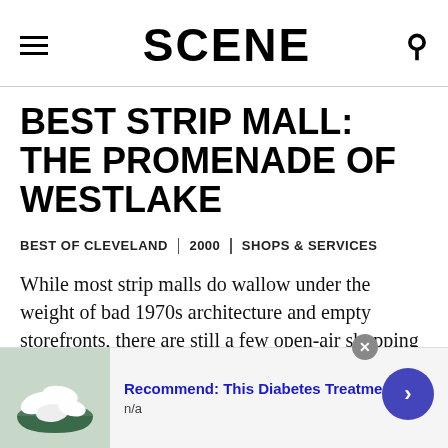SCENE
BEST STRIP MALL: THE PROMENADE OF WESTLAKE
BEST OF CLEVELAND | 2000 | SHOPS & SERVICES
While most strip malls do wallow under the weight of bad 1970s architecture and empty storefronts, there are still a few open-air shopping centers worth the land that's been paved over. If you're looking for dietary...
[Figure (photo): Advertisement banner with image of white pills/capsules, text: Recommend: This Diabetes Treatment Will, n/a]